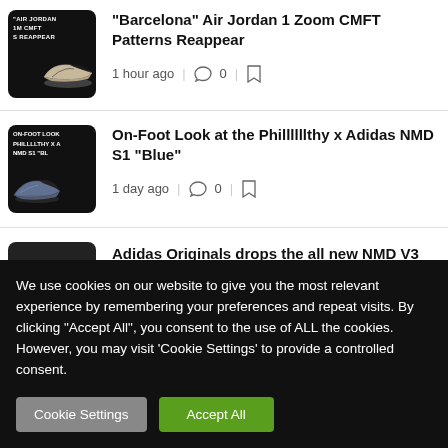[Figure (photo): Thumbnail image for Air Jordan article with shoe and dark background text]
"Barcelona" Air Jordan 1 Zoom CMFT Patterns Reappear
1 hour ago | 0 | bookmark icon
[Figure (photo): Thumbnail image for Phillllthy x Adidas NMD S1 article]
On-Foot Look at the Phillllllthy x Adidas NMD S1 "Blue"
1 day ago | 0 | bookmark icon
[Figure (photo): Thumbnail image for Adidas Originals NMD V3 article (partially visible)]
Adidas Originals drops the all new NMD V3
We use cookies on our website to give you the most relevant experience by remembering your preferences and repeat visits. By clicking "Accept All", you consent to the use of ALL the cookies. However, you may visit 'Cookie Settings' to provide a controlled consent.
Cookie Settings | Accept All